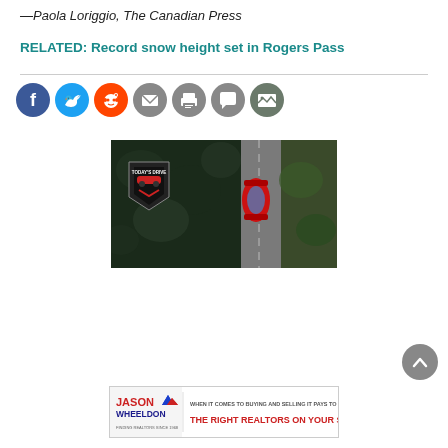—Paola Loriggio, The Canadian Press
RELATED: Record snow height set in Rogers Pass
[Figure (screenshot): Social sharing icons: Facebook, Twitter, Reddit, Email, Print, Comment, Gallery]
[Figure (photo): Aerial view of a red car on a road through autumn trees, with Today's Drive logo overlay]
[Figure (other): Jason Wheeldon advertisement: When it comes to buying and selling it pays to have the right realtors on your side]